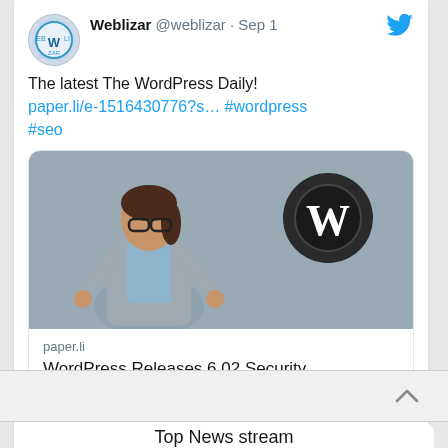[Figure (screenshot): Twitter/social media post card from Weblizar (@weblizar) dated Sep 1, showing tweet about WordPress Daily with link to paper.li article about WordPress 6.02 Security Vulnerability Update, with a featured image of a woman giving thumbs up in front of WordPress logo]
Weblizar @weblizar · Sep 1
The latest The WordPress Daily!
paper.li/e-1516430776?s… #wordpress #seo
paper.li
WordPress Releases 6.02 Security Vulnerability Update
Top News stream